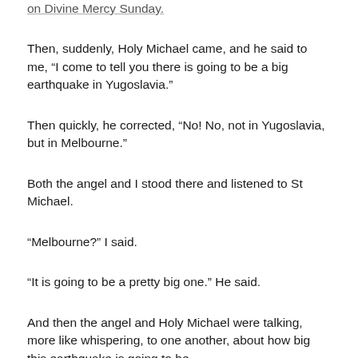on Divine Mercy Sunday.
Then, suddenly, Holy Michael came, and he said to me, “I come to tell you there is going to be a big earthquake in Yugoslavia.”
Then quickly, he corrected, “No! No, not in Yugoslavia, but in Melbourne.”
Both the angel and I stood there and listened to St Michael.
“Melbourne?” I said.
“It is going to be a pretty big one.” He said.
And then the angel and Holy Michael were talking, more like whispering, to one another, about how big this earthquake is going to be.